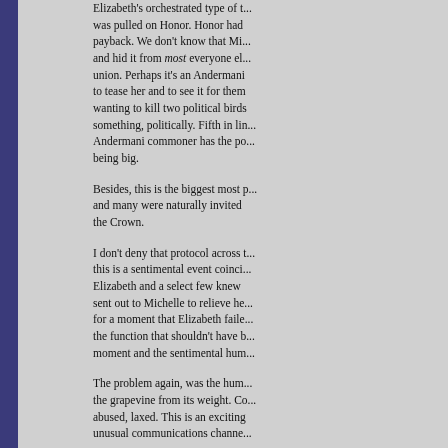Elizabeth's orchestrated type of thing was pulled on Honor. Honor had payback. We don't know that Mi... and hid it from most everyone else union. Perhaps it's an Andermani to tease her and to see it for them wanting to kill two political birds something, politically. Fifth in lin... Andermani commoner has the po... being big.
Besides, this is the biggest most p... and many were naturally invited the Crown.
I don't deny that protocol across t... this is a sentimental event coinci... Elizabeth and a select few knew sent out to Michelle to relieve he... for a moment that Elizabeth faile... the function that shouldn't have b... moment and the sentimental hum...
The problem again, was the hum... the grapevine from its weight. Co... abused, laxed. This is an exciting unusual communications channe...